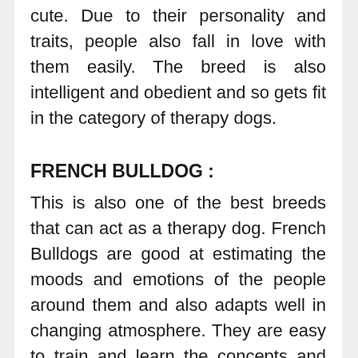cute. Due to their personality and traits, people also fall in love with them easily. The breed is also intelligent and obedient and so gets fit in the category of therapy dogs.
FRENCH BULLDOG :
This is also one of the best breeds that can act as a therapy dog. French Bulldogs are good at estimating the moods and emotions of the people around them and also adapts well in changing atmosphere. They are easy to train and learn the concepts and commands very quickly. The dogs are sweet and love to…